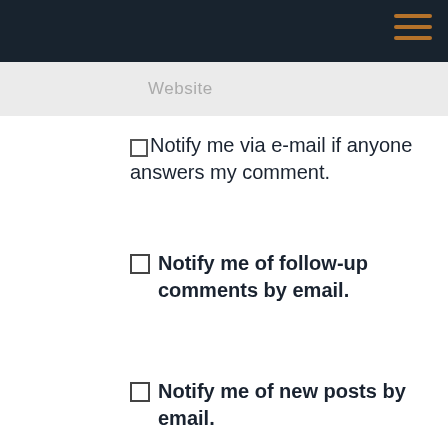Website
Notify me via e-mail if anyone answers my comment.
Notify me of follow-up comments by email.
Notify me of new posts by email.
SUBMIT COMMENT
This website uses cookies to improve your experience. We'll assume you're ok with this, but you can opt-out if you wish.
Accept
Read More